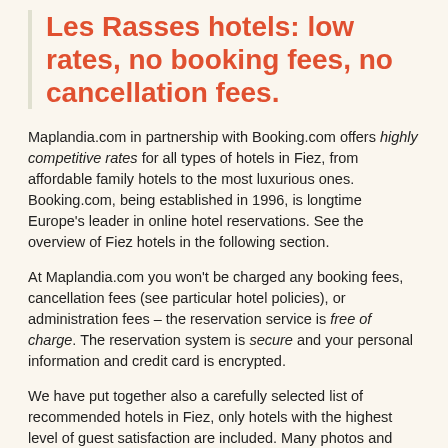Les Rasses hotels: low rates, no booking fees, no cancellation fees.
Maplandia.com in partnership with Booking.com offers highly competitive rates for all types of hotels in Fiez, from affordable family hotels to the most luxurious ones. Booking.com, being established in 1996, is longtime Europe's leader in online hotel reservations. See the overview of Fiez hotels in the following section.
At Maplandia.com you won't be charged any booking fees, cancellation fees (see particular hotel policies), or administration fees – the reservation service is free of charge. The reservation system is secure and your personal information and credit card is encrypted.
We have put together also a carefully selected list of recommended hotels in Fiez, only hotels with the highest level of guest satisfaction are included. Many photos and unbiased hotel reviews written by real guests are provided to help you make your booking decision. Luxury hotels (including 5 star hotels and 4 star hotels) and cheap Fiez hotels with best discounts are also listed.